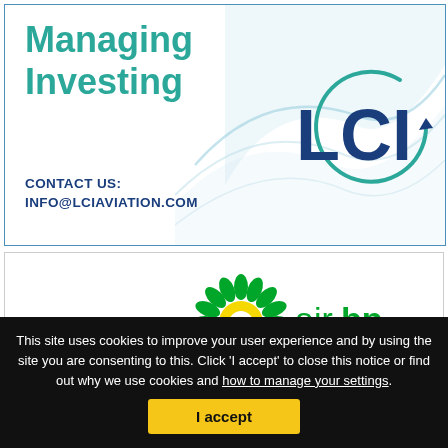[Figure (logo): LCI Aviation advertisement with teal 'Managing Investing' text, wave background, LCI logo with circular arrow, and contact info INFO@LCIAVIATION.COM]
[Figure (logo): Air BP logo with green and yellow sunburst emblem and 'air bp' text in green]
This site uses cookies to improve your user experience and by using the site you are consenting to this. Click 'I accept' to close this notice or find out why we use cookies and how to manage your settings.
I accept